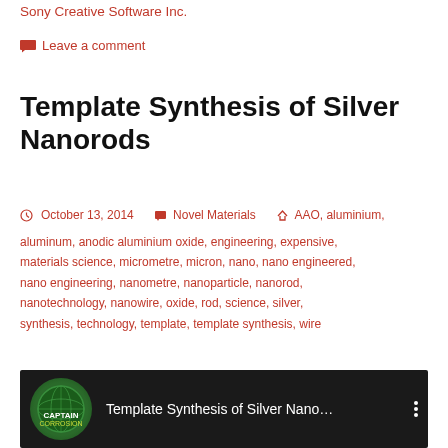Sony Creative Software Inc.
Leave a comment
Template Synthesis of Silver Nanorods
October 13, 2014   Novel Materials   AAO, aluminium, aluminum, anodic aluminium oxide, engineering, expensive, materials science, micrometre, micron, nano, nano engineered, nano engineering, nanometre, nanoparticle, nanorod, nanotechnology, nanowire, oxide, rod, science, silver, synthesis, technology, template, template synthesis, wire
[Figure (screenshot): YouTube video thumbnail showing 'Template Synthesis of Silver Nano...' with a globe/earth logo icon and a nanotube microscopy image in the background]